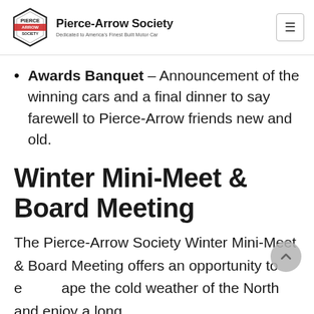Pierce-Arrow Society — Dedicated to America's Finest Built Motor Car
Awards Banquet – Announcement of the winning cars and a final dinner to say farewell to Pierce-Arrow friends new and old.
Winter Mini-Meet & Board Meeting
The Pierce-Arrow Society Winter Mini-Meet & Board Meeting offers an opportunity to escape the cold weather of the North and enjoy a long